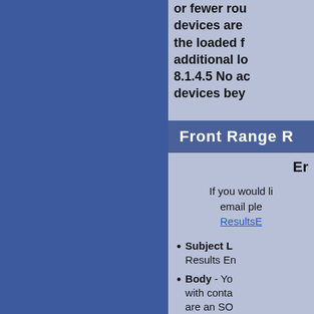or fewer rou devices are the loaded f additional lo 8.1.4.5 No ac devices bey
Front Range R
Er
If you would li email ple ResultsE
Subject L Results En
Body - Yo with conta are an SO ". SO" aft